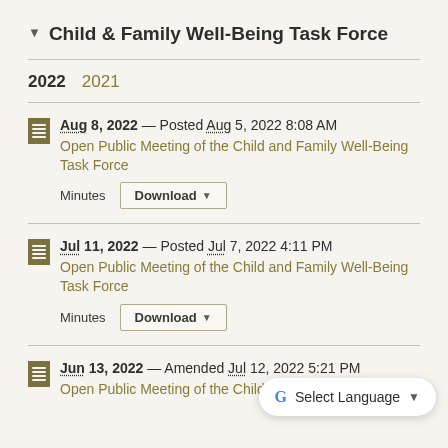Child & Family Well-Being Task Force
2022  2021
Aug 8, 2022 — Posted Aug 5, 2022 8:08 AM
Open Public Meeting of the Child and Family Well-Being Task Force
Minutes  Download
Jul 11, 2022 — Posted Jul 7, 2022 4:11 PM
Open Public Meeting of the Child and Family Well-Being Task Force
Minutes  Download
Jun 13, 2022 — Amended Jul 12, 2022 5:21 PM
Open Public Meeting of the Child and Family Well-Being Task Force